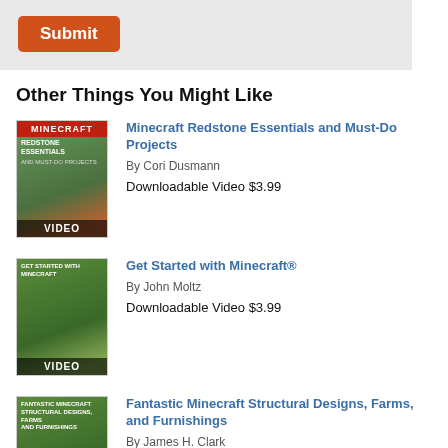[Figure (screenshot): Submit button area with gray background and orange Submit button]
Other Things You Might Like
Minecraft Redstone Essentials and Must-Do Projects
By Cori Dusmann
Downloadable Video $3.99
Get Started with Minecraft®
By John Moltz
Downloadable Video $3.99
Fantastic Minecraft Structural Designs, Farms, and Furnishings
By James H. Clark
Downloadable Video $3.99